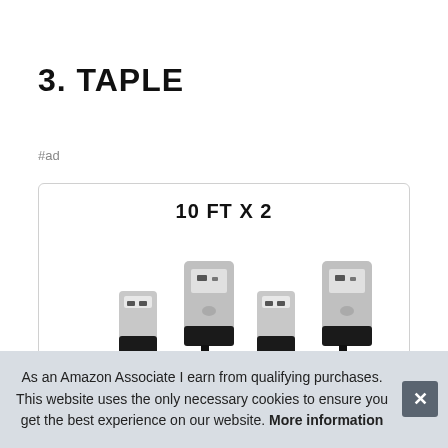3. TAPLE
#ad
[Figure (photo): Product card showing USB cables with the label '10 FT X 2', featuring images of USB-A and micro-USB connectors.]
As an Amazon Associate I earn from qualifying purchases. This website uses the only necessary cookies to ensure you get the best experience on our website. More information